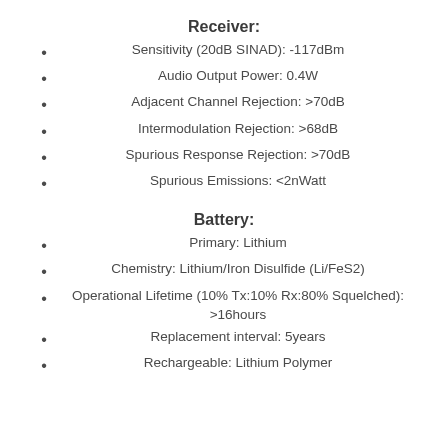Receiver:
Sensitivity (20dB SINAD): -117dBm
Audio Output Power: 0.4W
Adjacent Channel Rejection: >70dB
Intermodulation Rejection: >68dB
Spurious Response Rejection: >70dB
Spurious Emissions: <2nWatt
Battery:
Primary: Lithium
Chemistry: Lithium/Iron Disulfide (Li/FeS2)
Operational Lifetime (10% Tx:10% Rx:80% Squelched): >16hours
Replacement interval: 5years
Rechargeable: Lithium Polymer